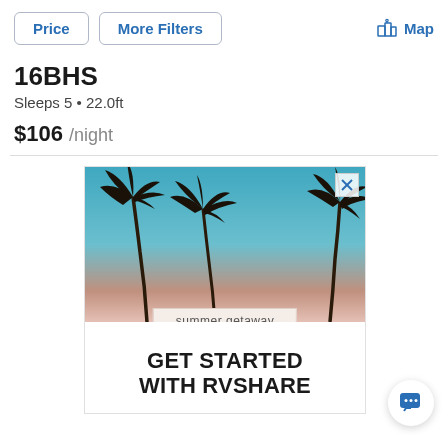Price   More Filters   Map
16BHS
Sleeps 5 • 22.0ft
$106 /night
[Figure (photo): Advertisement image showing three palm trees against a blue-to-pink sunset sky, with a 'summer getaway' badge and 'GET STARTED WITH RVSHARE' headline below.]